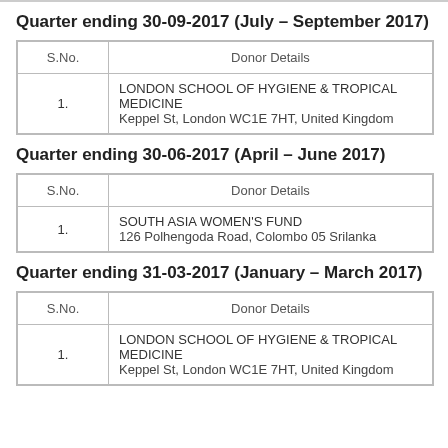Quarter ending 30-09-2017 (July – September 2017)
| S.No. | Donor Details |
| --- | --- |
| 1. | LONDON SCHOOL OF HYGIENE & TROPICAL MEDICINE
Keppel St, London WC1E 7HT, United Kingdom |
Quarter ending 30-06-2017 (April – June 2017)
| S.No. | Donor Details |
| --- | --- |
| 1. | SOUTH ASIA WOMEN'S FUND
126 Polhengoda Road, Colombo 05 Srilanka |
Quarter ending 31-03-2017 (January – March 2017)
| S.No. | Donor Details |
| --- | --- |
| 1. | LONDON SCHOOL OF HYGIENE & TROPICAL MEDICINE
Keppel St, London WC1E 7HT, United Kingdom |